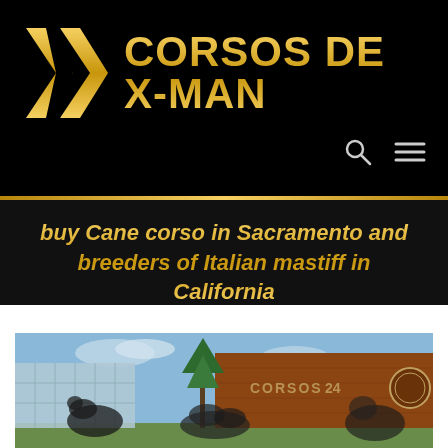[Figure (logo): Corsos De X-Man logo: gold stylized X chevron icon on black background with gold text 'CORSOS DE X-MAN']
buy Cane corso in Sacramento and breeders of Italian mastiff in California
[Figure (photo): Outdoor photo of a building with brick facade and large sculptures of Cane Corso dogs in the foreground, blue sky, trees, and a sign reading 'CORSOS' on the building]